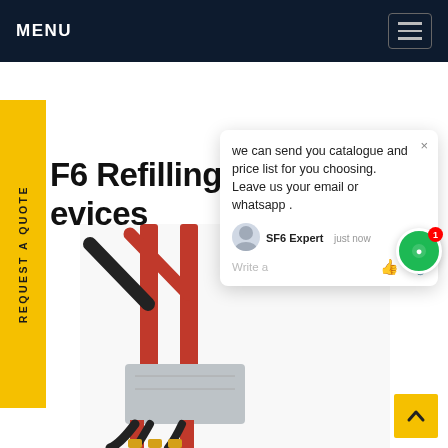MENU
SF6 Refilling Evacuation Devices
[Figure (screenshot): Chat popup widget showing message: 'we can send you catalogue and price list for you choosing. Leave us your email or whatsapp.' with SF6 Expert agent label and 'just now' timestamp, write a message input area with thumbs up and attachment icons.]
[Figure (photo): SF6 gas refilling and evacuation device - red and grey industrial equipment with hoses and fittings]
REQUEST A QUOTE
we can send you catalogue and price list for you choosing. Leave us your email or whatsapp .
SF6 Expert   just now
Write a